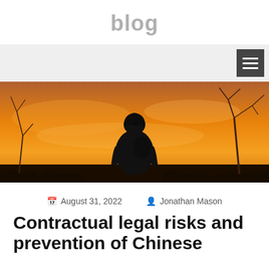blog
[Figure (photo): Silhouette of a soldier wearing a helmet against a warm orange and golden sunset sky, with bare tree branches visible on right side.]
August 31, 2022   Jonathan Mason
Contractual legal risks and prevention of Chinese